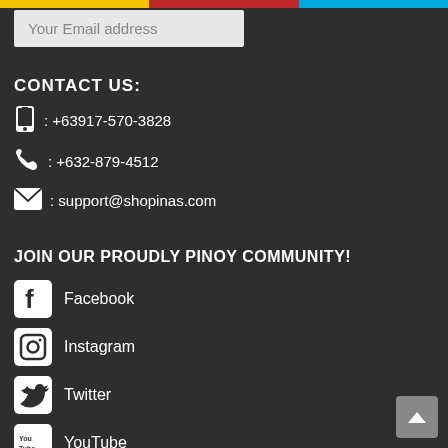Your Email address
CONTACT US:
: +63917-570-3828
: +632-879-4512
: support@shopinas.com
JOIN OUR PROUDLY PINOY COMMUNITY!
Facebook
Instagram
Twitter
YouTube
Blog